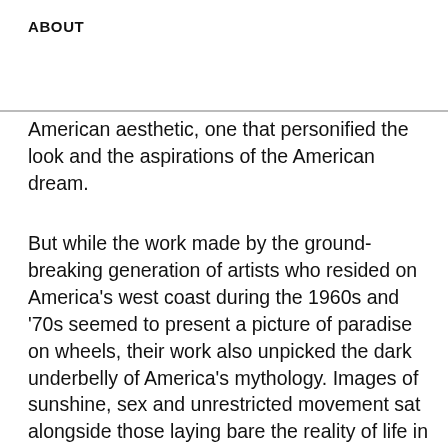ABOUT
American aesthetic, one that personified the look and the aspirations of the American dream.
But while the work made by the ground-breaking generation of artists who resided on America’s west coast during the 1960s and ‘70s seemed to present a picture of paradise on wheels, their work also unpicked the dark underbelly of America’s mythology. Images of sunshine, sex and unrestricted movement sat alongside those laying bare the reality of life in contemporary America—a place of increasing social inequality, loneliness, civil unrest and deteriorating California Dreh…